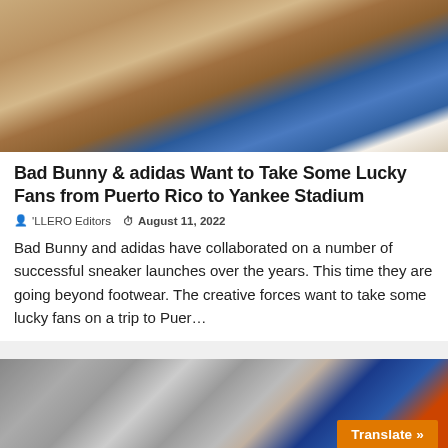[Figure (photo): Person crouching on sand wearing blue and white adidas sneakers, with a blue flag or banner visible in the background]
Bad Bunny & adidas Want to Take Some Lucky Fans from Puerto Rico to Yankee Stadium
'LLERO Editors   August 11, 2022
Bad Bunny and adidas have collaborated on a number of successful sneaker launches over the years. This time they are going beyond footwear. The creative forces want to take some lucky fans on a trip to Puer...
[Figure (photo): City buildings and flags scene with an orange Translate button in the bottom right corner]